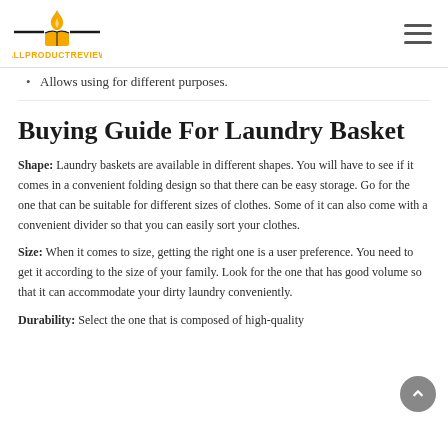ALLPRODUCTREVIEW
Allows using for different purposes.
Buying Guide For Laundry Basket
Shape: Laundry baskets are available in different shapes. You will have to see if it comes in a convenient folding design so that there can be easy storage. Go for the one that can be suitable for different sizes of clothes. Some of it can also come with a convenient divider so that you can easily sort your clothes.
Size: When it comes to size, getting the right one is a user preference. You need to get it according to the size of your family. Look for the one that has good volume so that it can accommodate your dirty laundry conveniently.
Durability: Select the one that is composed of high-quality